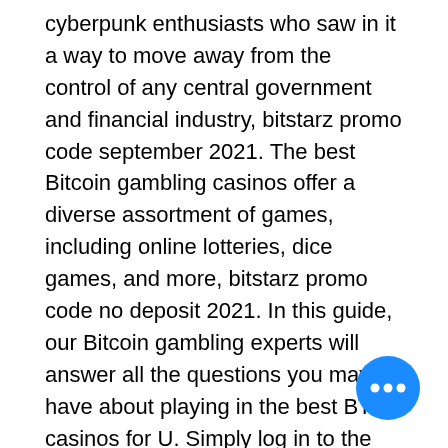cyberpunk enthusiasts who saw in it a way to move away from the control of any central government and financial industry, bitstarz promo code september 2021. The best Bitcoin gambling casinos offer a diverse assortment of games, including online lotteries, dice games, and more, bitstarz promo code no deposit 2021. In this guide, our Bitcoin gambling experts will answer all the questions you may have about playing in the best BTC casinos for U. Simply log in to the website and make your account ideal, it will automatically mine for you and once you have reached any certain value simply claim that by solving the captcha. While signup account with Moon Litecoin provides claimed Litecoin sending address of CoinPot, bitstarz promo code november 2021. Each of your 200 or 180 free spins should come at the same value, too. That way you will always be on top of your gameplay, bitstarz promo code free 2019.
[Figure (other): Blue circular chat/more-options button with three white dots in the bottom-right corner]